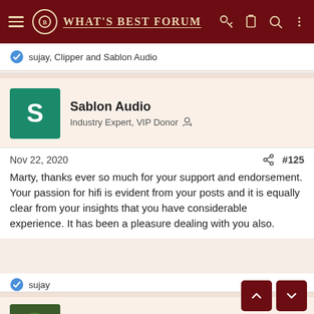WHAT'S BEST FORUM
sujay, Clipper and Sablon Audio
Sablon Audio
Industry Expert, VIP Donor
Nov 22, 2020   #125
Marty, thanks ever so much for your support and endorsement. Your passion for hifi is evident from your posts and it is equally clear from your insights that you have considerable experience. It has been a pleasure dealing with you also.
sujay
Clipper
Member
Nov 26, 2020   #126